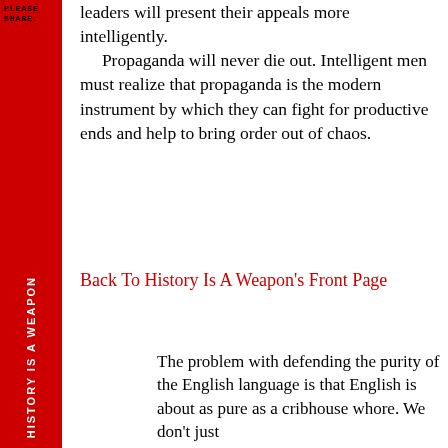PLEASE SHARE.
leaders will present their appeals more intelligently.
    Propaganda will never die out. Intelligent men must realize that propaganda is the modern instrument by which they can fight for productive ends and help to bring order out of chaos.
Back To History Is A Weapon's Front Page
The problem with defending the purity of the English language is that English is about as pure as a cribhouse whore. We don't just
HISTORY IS A WEAPON